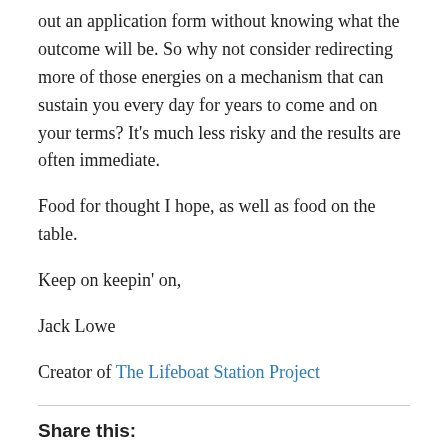out an application form without knowing what the outcome will be. So why not consider redirecting more of those energies on a mechanism that can sustain you every day for years to come and on your terms? It's much less risky and the results are often immediate.
Food for thought I hope, as well as food on the table.
Keep on keepin' on,
Jack Lowe
Creator of The Lifeboat Station Project
Share this:
[Figure (other): Social share buttons: Twitter (blue circle), Facebook (dark blue circle), and a More button with share icon]